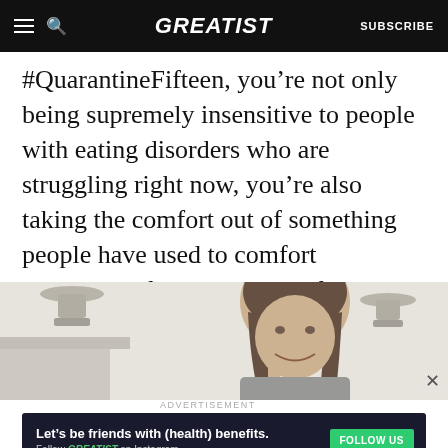GREATIST | SUBSCRIBE
#QuarantineFifteen, you’re not only being supremely insensitive to people with eating disorders who are struggling right now, you’re also taking the comfort out of something people have used to comfort themselves for generations: food.
[Figure (photo): Woman eating food in a bright kitchen, smiling, with pendant lights in background]
ADVERTISEMENT
Let’s be friends with (health) benefits. Follow GREATIST on Instagram  FOLLOW US